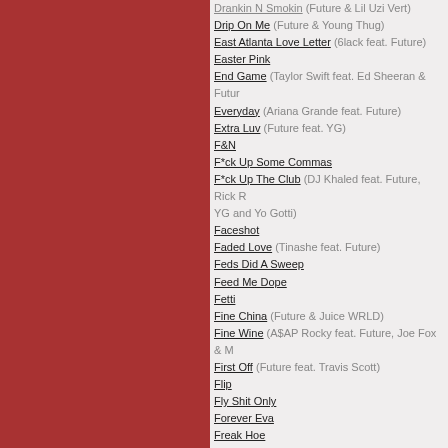Drankin N Smokin (Future & Lil Uzi Vert)
Drip On Me (Future & Young Thug)
East Atlanta Love Letter (6lack feat. Future)
Easter Pink
End Game (Taylor Swift feat. Ed Sheeran & Future)
Everyday (Ariana Grande feat. Future)
Extra Luv (Future feat. YG)
F&N
F*ck Up Some Commas
F*ck Up The Club (DJ Khaled feat. Future, Rick Ross, YG and Yo Gotti)
Faceshot
Faded Love (Tinashe feat. Future)
Feds Did A Sweep
Feed Me Dope
Fetti
Fine China (Future & Juice WRLD)
Fine Wine (A$AP Rocky feat. Future, Joe Fox & M)
First Off (Future feat. Travis Scott)
Flip
Fly Shit Only
Forever Eva
Freak Hoe
Fresh Air
Gangland
General (Yo Gotti feat. Future)
Give U Dat (Nelly feat. Future)
Go Harder
Goin Dummi
Gold Stacks
Gone To The Moon
Good Dope
Grammys (Drake feat. Future)
Group Home (Future & Young Thug)
Groupies
Hallucinating
Happiness Over Everything (H.O.E.) (Jhené Aiko feat. Future & Miguel)